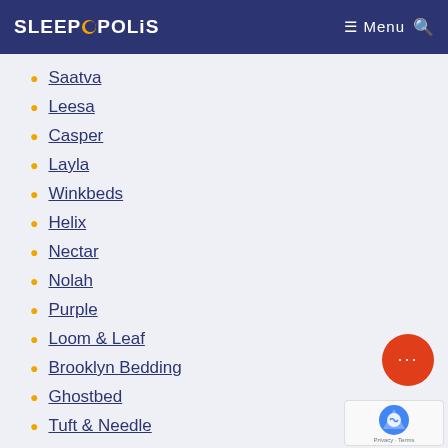SLEEPOPOLIS Menu
Saatva
Leesa
Casper
Layla
Winkbeds
Helix
Nectar
Nolah
Purple
Loom & Leaf
Brooklyn Bedding
Ghostbed
Tuft & Needle